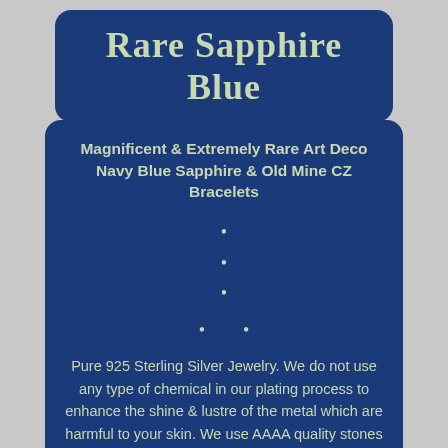Rare Sapphire Blue
Magnificent & Extremely Rare Art Deco Navy Blue Sapphire & Old Mine CZ Bracelets
Pure 925 Sterling Silver Jewelry. We do not use any type of chemical in our plating process to enhance the shine & lustre of the metal which are harmful to your skin. We use AAAA quality stones which gives even better radiance than real diamonds & gemstones. We offer full customization on each product. If you have a design. In mind, we can manufacture customised